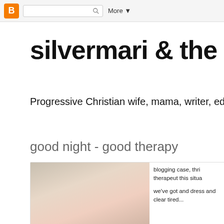Blogger navigation bar with search box and More button
silvermari & the stick
Progressive Christian wife, mama, writer, editor & c
good night - good therapy
[Figure (photo): Close-up photo of what appears to be skin or a body part, muted warm tones with pinkish and olive hues]
blogging case, thri therapeut this situa we've got and dress and clear tired...